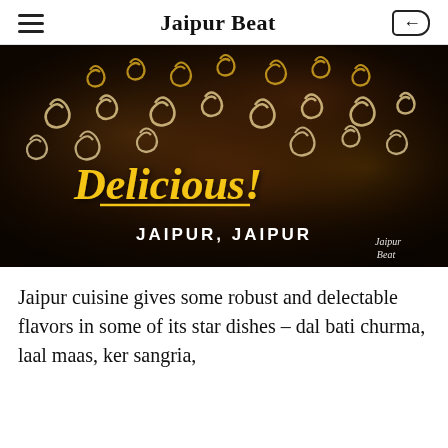Jaipur Beat
[Figure (photo): Overhead shot of jalebi (Indian sweets) frying in a dark pan, with text overlay reading 'Delicious!' in yellow cursive and 'JAIPUR, JAIPUR' in white bold letters, plus a 'Jaipur Beat' watermark in the bottom right corner.]
Jaipur cuisine gives some robust and delectable flavors in some of its star dishes – dal bati churma, laal maas, ker sangria,